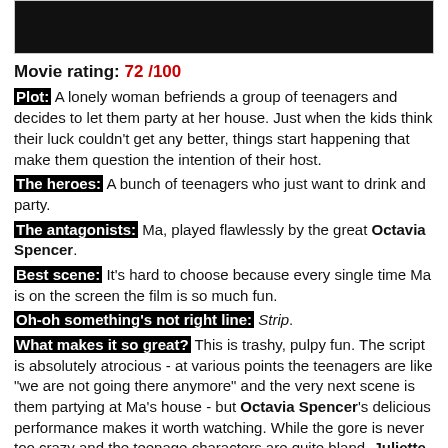[Figure (photo): Dark image bar at top of page, mostly black with faint green foliage visible]
Movie rating: 72 /100
Plot: A lonely woman befriends a group of teenagers and decides to let them party at her house. Just when the kids think their luck couldn't get any better, things start happening that make them question the intention of their host.
The heroes: A bunch of teenagers who just want to drink and party.
The antagonists: Ma, played flawlessly by the great Octavia Spencer.
Best scene: It's hard to choose because every single time Ma is on the screen the film is so much fun.
Oh-oh something's not right line: Strip.
What makes it so great? This is trashy, pulpy fun. The script is absolutely atrocious - at various points the teenagers are like "we are not going there anymore" and the very next scene is them partying at Ma's house - but Octavia Spencer's delicious performance makes it worth watching. While the gore is never too crazy and the teenage characters are quite bland, Juliette Lewis, Luke Evans and Allison Janney (in cameo performance) deliver pretty great work.